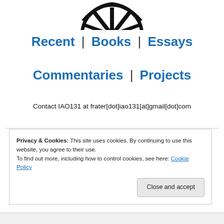[Figure (logo): Partial WordPress logo (wheel/circle icon) at top center, cropped]
Recent | Books | Essays
Commentaries | Projects
Contact IAO131 at frater[dot]iao131[at]gmail[dot]com
Privacy & Cookies: This site uses cookies. By continuing to use this website, you agree to their use.
To find out more, including how to control cookies, see here: Cookie Policy

Close and accept